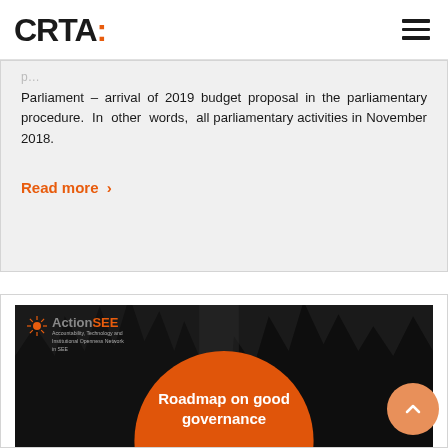CRTA:
Parliament – arrival of 2019 budget proposal in the parliamentary procedure. In other words, all parliamentary activities in November 2018.
Read more >
[Figure (photo): ActionSEE logo with subtitle 'Accountability, Technology and Institutional Openness Network in SEE' overlaid on a dark forest background with a large orange circle and text 'Roadmap on good governance']